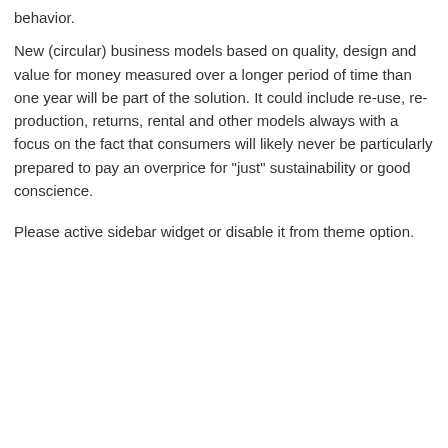behavior.
New (circular) business models based on quality, design and value for money measured over a longer period of time than one year will be part of the solution. It could include re-use, re-production, returns, rental and other models always with a focus on the fact that consumers will likely never be particularly prepared to pay an overprice for "just" sustainability or good conscience.
Please active sidebar widget or disable it from theme option.